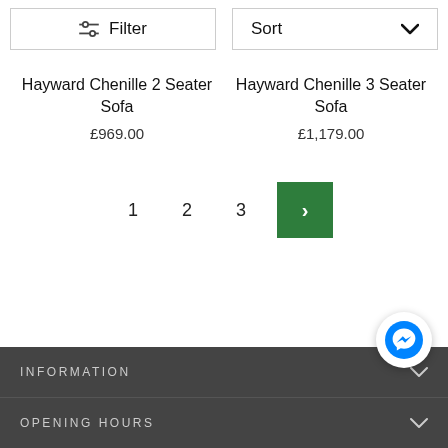Filter
Sort
Hayward Chenille 2 Seater Sofa
£969.00
Hayward Chenille 3 Seater Sofa
£1,179.00
1  2  3  >
INFORMATION
OPENING HOURS